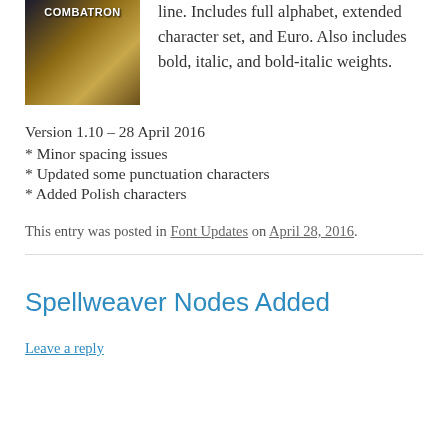[Figure (photo): Game or product cover image with text 'COMBATRON' at the top, showing a dark fantasy scene]
line. Includes full alphabet, extended character set, and Euro. Also includes bold, italic, and bold-italic weights.
Version 1.10 – 28 April 2016
* Minor spacing issues
* Updated some punctuation characters
* Added Polish characters
This entry was posted in Font Updates on April 28, 2016.
Spellweaver Nodes Added
Leave a reply